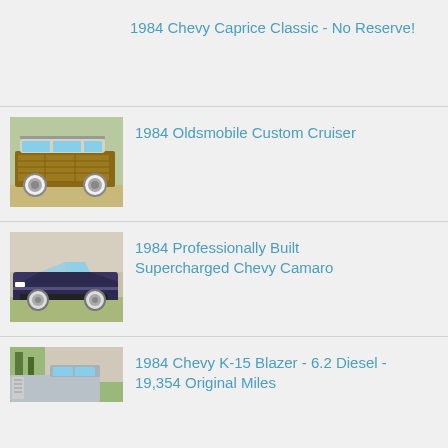1984 Chevy Caprice Classic - No Reserve!
[Figure (photo): No image shown for first listing]
1984 Oldsmobile Custom Cruiser
[Figure (photo): Side view of a 1984 Oldsmobile Custom Cruiser station wagon with wood paneling and white wall tires]
1984 Professionally Built Supercharged Chevy Camaro
[Figure (photo): Side view of a dark colored 1984 Chevy Camaro supercharged build]
1984 Chevy K-15 Blazer - 6.2 Diesel - 19,354 Original Miles
[Figure (photo): Partial front/side view of a 1984 Chevy K-15 Blazer]